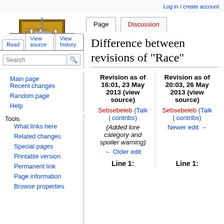Log in / create account
[Figure (logo): TE4 wiki logo — gold and brown medieval shield with letters T, E, 4 and a sword]
Page | Discussion | Read | View source | View history
Difference between revisions of "Race"
Main page
Recent changes
Random page
Help
Tools
What links here
Related changes
Special pages
Printable version
Permanent link
Page information
Browse properties
| Revision as of 16:01, 23 May 2013 (view source) | Revision as of 20:03, 26 May 2013 (view source) |
| --- | --- |
| Sebsebeleb (Talk | contribs) | Sebsebeleb (Talk | contribs) |
| (Added lore category and spoiler warning) | Newer edit → |
| ← Older edit |  |
| Line 1: | Line 1: |